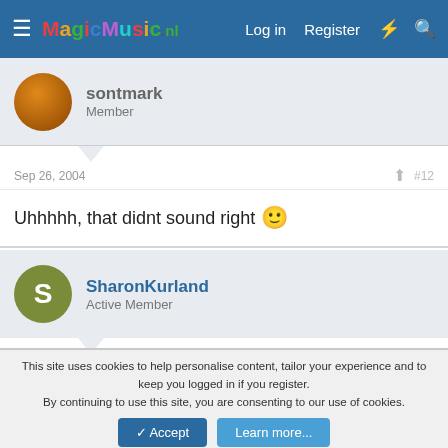MagicMusic.nl — Log in | Register
sontmark
Member
Sep 26, 2004  #12
Uhhhhh, that didnt sound right 🙂
SharonKurland
Active Member
Sep 26, 2004  #13
Fine. Don't tell me. *I* don't care.
This site uses cookies to help personalise content, tailor your experience and to keep you logged in if you register.
By continuing to use this site, you are consenting to our use of cookies.
[Accept] [Learn more...]